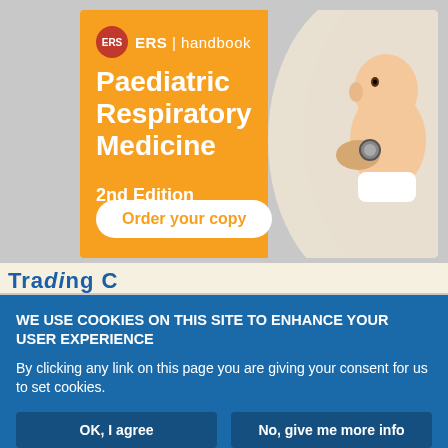[Figure (illustration): ERS Handbook advertisement banner for 'Paediatric Respiratory Medicine 2nd Edition' with orange background, ERS logo, book title in white bold text, 'Order your copy' button, and image of a baby being examined with a stethoscope on the right side.]
WE USE COOKIES ON THIS SITE TO ENHANCE YOUR USER EXPERIENCE
By clicking any link on this page you are giving your consent for us to set cookies.
OK, I agree
No, give me more info